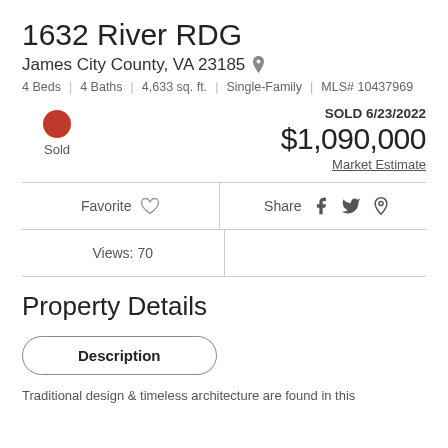1632 River RDG
James City County, VA 23185
4 Beds | 4 Baths | 4,633 sq. ft. | Single-Family | MLS# 10437969
SOLD 6/23/2022
$1,090,000
Market Estimate
Sold
Favorite
Share
Views: 70
Property Details
Description
Traditional design & timeless architecture are found in this